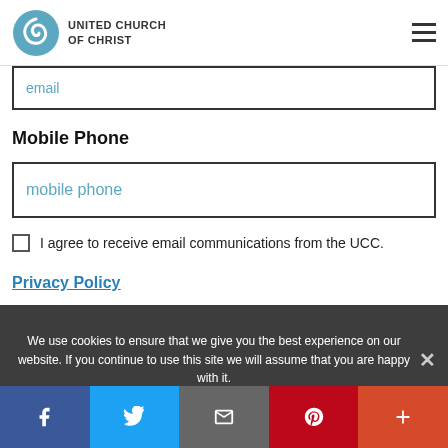[Figure (logo): United Church of Christ logo with spiral icon and text]
email
Mobile Phone
mobile phone
I agree to receive email communications from the UCC.
Privacy Policy
We use cookies to ensure that we give you the best experience on our website. If you continue to use this site we will assume that you are happy with it.
[Figure (infographic): Social share bar with Facebook, Twitter, Email, Pinterest, and More buttons]